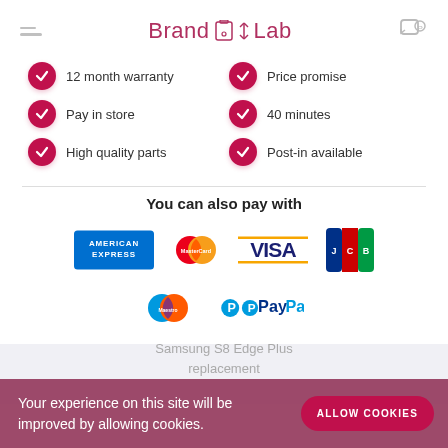BrandLabLab
12 month warranty
Price promise
Pay in store
40 minutes
High quality parts
Post-in available
You can also pay with
[Figure (logo): Payment method logos: American Express, MasterCard, VISA, JCB, Maestro, PayPal]
Samsung S8 Edge Plus replacement
Your experience on this site will be improved by allowing cookies.
ALLOW COOKIES